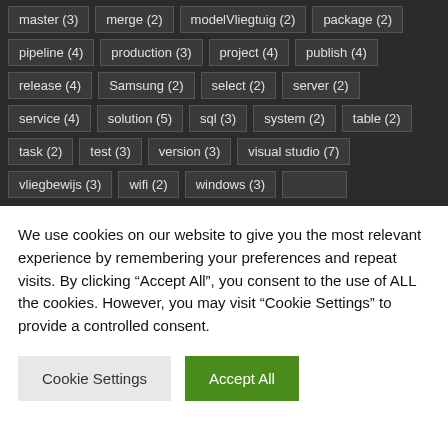master (3), merge (2), modelVliegtuig (2), package (2), pipeline (4), production (3), project (4), publish (4), release (4), Samsung (2), select (2), server (2), service (4), solution (5), sql (3), system (2), table (2), task (2), test (3), version (3), visual studio (7), vliegbewijs (3), wifi (2), windows (3)
We use cookies on our website to give you the most relevant experience by remembering your preferences and repeat visits. By clicking "Accept All", you consent to the use of ALL the cookies. However, you may visit "Cookie Settings" to provide a controlled consent.
Cookie Settings
Accept All